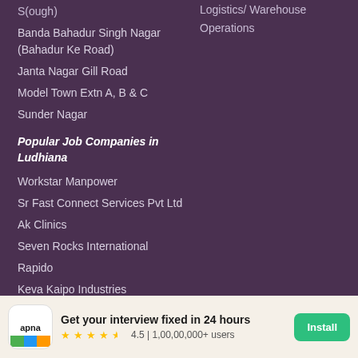S(ough)
Banda Bahadur Singh Nagar (Bahadur Ke Road)
Janta Nagar Gill Road
Model Town Extn A, B & C
Sunder Nagar
Popular Job Companies in Ludhiana
Workstar Manpower
Sr Fast Connect Services Pvt Ltd
Ak Clinics
Seven Rocks International
Rapido
Keva Kaipo Industries
Quadb Technologies
Business View India
Onayl
Logistics/ Warehouse Operations
Get your interview fixed in 24 hours
4.5 | 1,00,00,000+ users